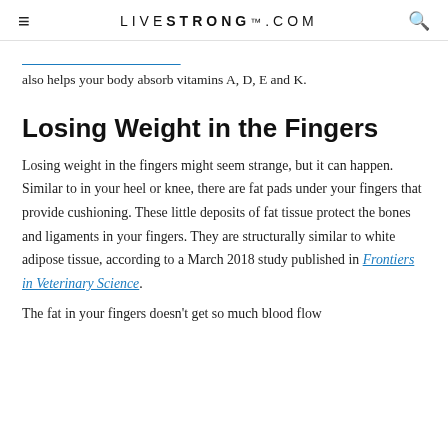≡   LIVESTRONG.COM   🔍
also helps your body absorb vitamins A, D, E and K.
Losing Weight in the Fingers
Losing weight in the fingers might seem strange, but it can happen. Similar to in your heel or knee, there are fat pads under your fingers that provide cushioning. These little deposits of fat tissue protect the bones and ligaments in your fingers. They are structurally similar to white adipose tissue, according to a March 2018 study published in Frontiers in Veterinary Science.
The fat in your fingers doesn't get so much blood flow